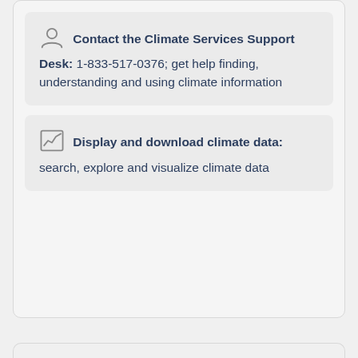Contact the Climate Services Support Desk: 1-833-517-0376; get help finding, understanding and using climate information
Display and download climate data: search, explore and visualize climate data